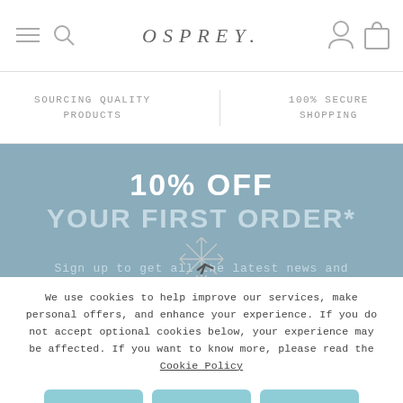OSPREY.
SOURCING QUALITY PRODUCTS
100% SECURE SHOPPING
10% OFF YOUR FIRST ORDER*
Sign up to get all the latest news and exclusive offers.
We use cookies to help improve our services, make personal offers, and enhance your experience. If you do not accept optional cookies below, your experience may be affected. If you want to know more, please read the Cookie Policy
ACCEPT
DECLINE
MANAGE